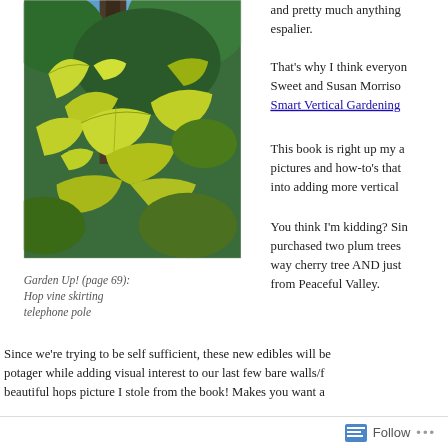[Figure (photo): Photograph of hop vine skirting a telephone pole, with large yellow-green leaves and a tall tree trunk in a forest garden setting.]
Garden Up! (page 69): Hop vine skirting telephone pole
and pretty much anything espalier.
That's why I think everyone Sweet and Susan Morrison Smart Vertical Gardening
This book is right up my a pictures and how-to's that into adding more vertical
You think I'm kidding? Sin purchased two plum trees way cherry tree AND just from Peaceful Valley.
Since we're trying to be self sufficient, these new edibles will be potager while adding visual interest to our last few bare walls/f beautiful hops picture I stole from the book! Makes you want a